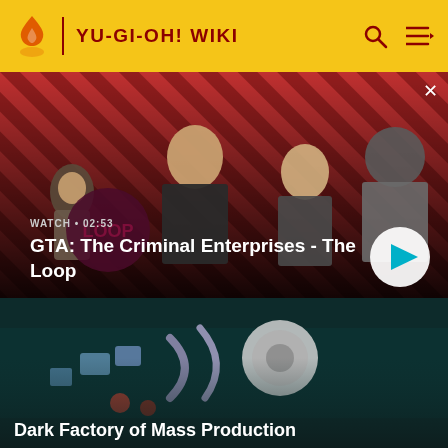YU-GI-OH! WIKI
[Figure (screenshot): Video thumbnail for 'GTA: The Criminal Enterprises - The Loop' showing four characters against a red diagonal striped background. Overlay shows WATCH • 02:53 label, title text, and a circular play button.]
GTA: The Criminal Enterprises - The Loop
[Figure (screenshot): Video thumbnail for 'Dark Factory of Mass Production' showing animated/illustrated artwork of mechanical and robotic imagery on a teal/dark background.]
Dark Factory of Mass Production